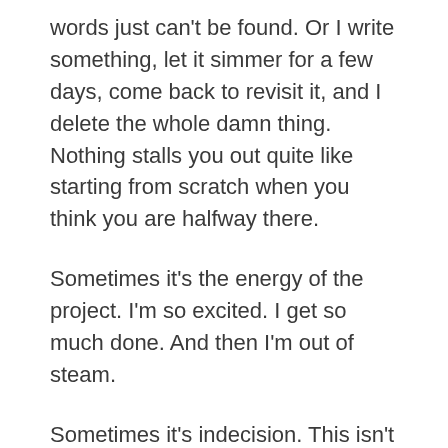words just can't be found. Or I write something, let it simmer for a few days, come back to revisit it, and I delete the whole damn thing. Nothing stalls you out quite like starting from scratch when you think you are halfway there.
Sometimes it's the energy of the project. I'm so excited. I get so much done. And then I'm out of steam.
Sometimes it's indecision. This isn't something I struggle with a lot – but when it hits, it hits hard. The project is ready to go – but I just can't decide how to get it out to the world. I know what I would tell other people to do, but I either just space out on those things, or decide